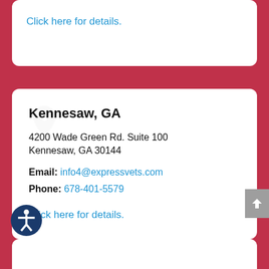Click here for details.
Kennesaw, GA
4200 Wade Green Rd. Suite 100
Kennesaw, GA 30144
Email: info4@expressvets.com
Phone: 678-401-5579
Click here for details.